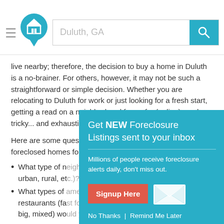Duluth, GA — search bar header with logo and search button
live nearby; therefore, the decision to buy a home in Duluth is a no-brainer. For others, however, it may not be such a straightforward or simple decision. Whether you are relocating to Duluth for work or just looking for a fresh start, getting a read on a neighborhood from afar (online) can be tricky... and exhausting.
Here are some ques[tions to ask yourself when searching for] foreclosed homes fo[r sale in Duluth, GA:]
What type of n[eighborhood do you prefer (suburban,] urban, rural, et[c.)?]
What types of [amenities do you need nearby (schools,] restaurants (fa[st food, sit-down, local), boutiques,] big, mixed) wo[uld you like?]
What leisure-ti[me activities do you like to] enjoy?
What type of commute (car, plane, home office) do you seek?
In short, it always helps to create a “Pros vs. Cons” list of what
[Figure (infographic): Modal popup overlay with teal background reading 'Get NEW Foreclosure Listings sent to your inbox'. Contains subtitle 'Millions of people receive foreclosure alerts daily, don't miss out.' A red 'Signup Here' button and an envelope icon. Footer links: 'No Thanks | Remind Me Later'.]